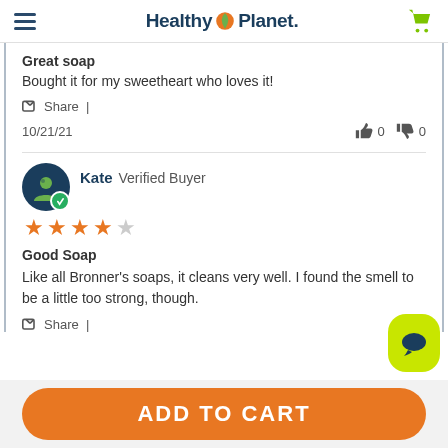Healthy Planet
Great soap
Bought it for my sweetheart who loves it!
Share |
10/21/21    👍 0  👎 0
Kate  Verified Buyer  ★★★★☆
Good Soap
Like all Bronner's soaps, it cleans very well. I found the smell to be a little too strong, though.
Share |
ADD TO CART